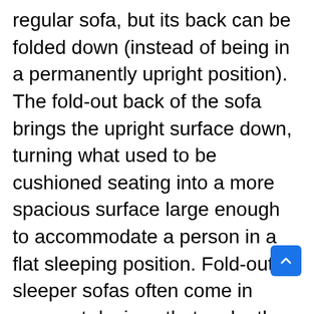regular sofa, but its back can be folded down (instead of being in a permanently upright position). The fold-out back of the sofa brings the upright surface down, turning what used to be cushioned seating into a more spacious surface large enough to accommodate a person in a flat sleeping position. Fold-out sleeper sofas often come in compact designs that make them ideal for small corners or spaces in your home that may not be able to fit bulkier furniture items. A fold-out sleeper sofa can maximize the available space while providing you with the benefits of two furniture pieces at the same time. When choosing a fold-out sleeper sofa for your home, you also need to consider the extra space that the fold out back will occupy when you need to set up the